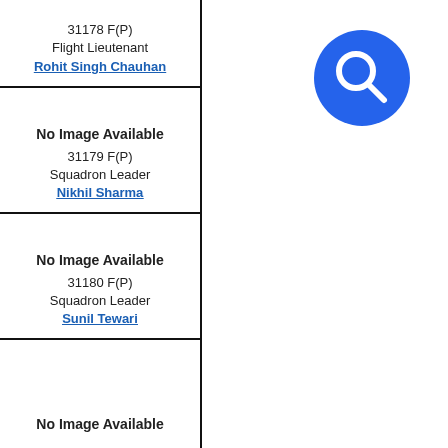31178 F(P)
Flight Lieutenant
Rohit Singh Chauhan
[Figure (other): No Image Available placeholder card for 31179 F(P) Squadron Leader Nikhil Sharma]
31179 F(P)
Squadron Leader
Nikhil Sharma
[Figure (other): No Image Available placeholder card for 31180 F(P) Squadron Leader Sunil Tewari]
31180 F(P)
Squadron Leader
Sunil Tewari
[Figure (other): No Image Available placeholder card (partial)]
[Figure (other): Search/magnifying glass icon (blue circle with white magnifying glass)]